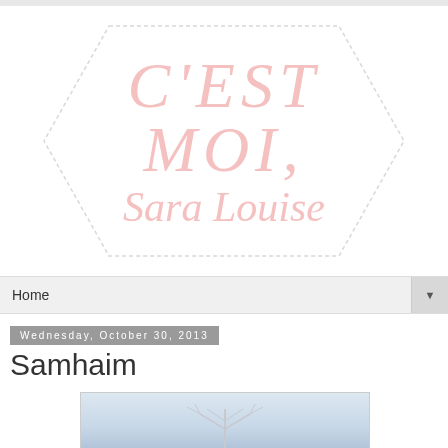[Figure (logo): Blog logo for 'C'est Moi, Sara Louise' — light pink script text inside a hexagon outline on white background]
Home ▼
Wednesday, October 30, 2013
Samhaim
[Figure (photo): A winter scene with bare tree branches against a pale blue-grey sky, partially visible at bottom of page]